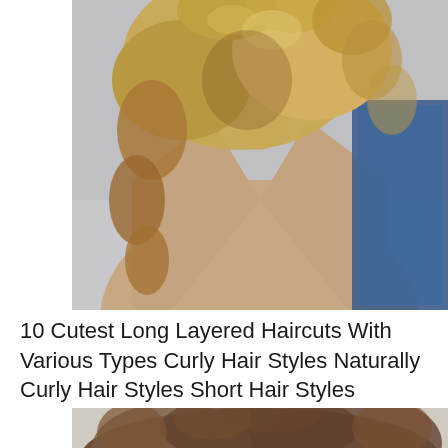[Figure (photo): Woman with long curly blonde/brown hair wearing a camel-colored coat and blue denim, photographed from behind/side against a light grey background.]
10 Cutest Long Layered Haircuts With Various Types Curly Hair Styles Naturally Curly Hair Styles Short Hair Styles
[Figure (photo): Person with short curly brown hair, partially visible at bottom of page.]